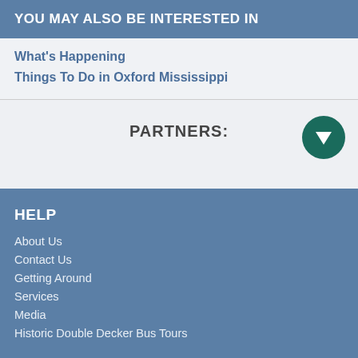YOU MAY ALSO BE INTERESTED IN
What's Happening
Things To Do in Oxford Mississippi
PARTNERS:
[Figure (other): Dark teal circle with white downward-pointing triangle arrow icon]
HELP
About Us
Contact Us
Getting Around
Services
Media
Historic Double Decker Bus Tours